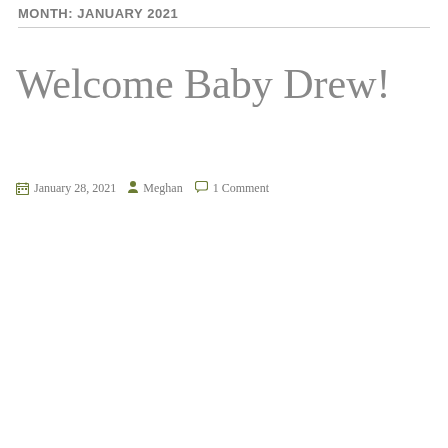MONTH: JANUARY 2021
Welcome Baby Drew!
January 28, 2021  Meghan  1 Comment